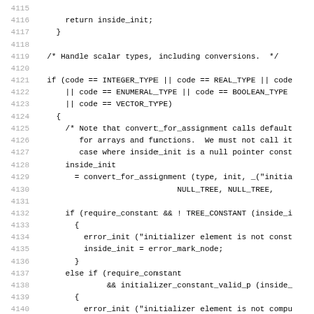Source code listing lines 4115-4146 showing C code for handling scalar types including conversions, with convert_for_assignment calls, require_constant checks, error_init calls, and return inside_init statements.